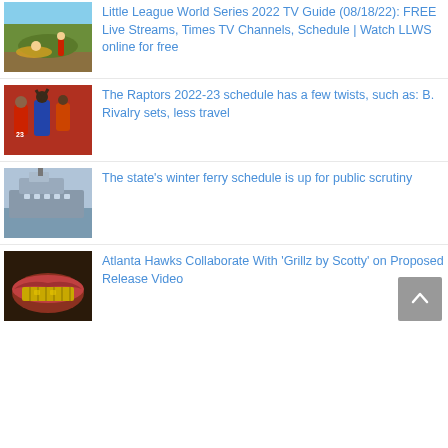[Figure (photo): Baseball player sliding into base, youth league game]
Little League World Series 2022 TV Guide (08/18/22): FREE Live Streams, Times TV Channels, Schedule | Watch LLWS online for free
[Figure (photo): Toronto Raptors basketball players celebrating, player #23 visible]
The Raptors 2022-23 schedule has a few twists, such as: B. Rivalry sets, less travel
[Figure (photo): Large ferry boat on calm water in winter]
The state's winter ferry schedule is up for public scrutiny
[Figure (photo): Close-up of a mouth with gold grillz teeth]
Atlanta Hawks Collaborate With ‘Grillz by Scotty’ on Proposed Release Video